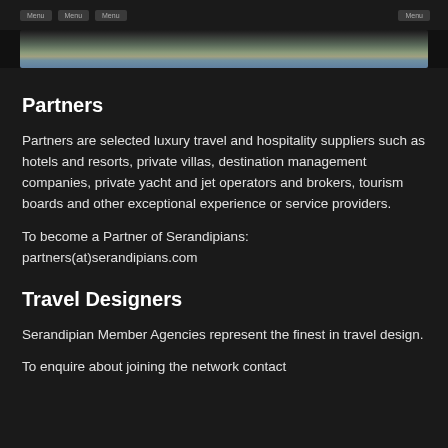[Figure (photo): Landscape photograph showing trees and blue sky behind a navigation bar at the top of the page]
Partners
Partners are selected luxury travel and hospitality suppliers such as hotels and resorts, private villas, destination management companies, private yacht and jet operators and brokers, tourism boards and other exceptional experience or service providers.
To become a Partner of Serandipians: partners(at)serandipians.com
Travel Designers
Serandipian Member Agencies represent the finest in travel design.
To enquire about joining the network contact